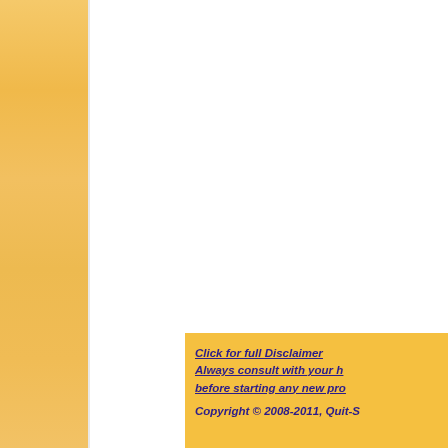[Figure (illustration): Orange/tan textured sidebar panel on the left side of the page]
Click for full Disclaimer
Always consult with your h[ealth professional]
before starting any new pro[gram]

Copyright © 2008-2011, Quit-S[moking]